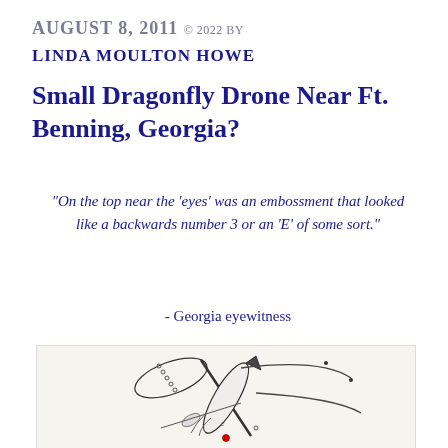AUGUST 8, 2011 © 2022 BY
LINDA MOULTON HOWE
Small Dragonfly Drone Near Ft. Benning, Georgia?
“On the top near the ‘eyes’ was an embossment that looked like a backwards number 3 or an ‘E’ of some sort.”
- Georgia eyewitness
[Figure (illustration): Hand-drawn sketch of a dragonfly-like drone viewed from above, showing elongated body, crossing wing shapes, small dots along one wing, a dark triangular head area, and a red dot near the bottom center.]